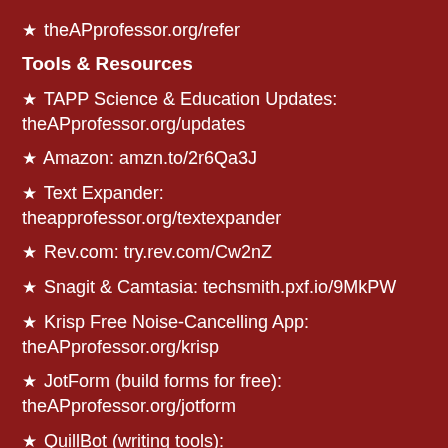★ theAPprofessor.org/refer
Tools & Resources
★ TAPP Science & Education Updates: theAPprofessor.org/updates
★ Amazon: amzn.to/2r6Qa3J
★ Text Expander: theapprofessor.org/textexpander
★ Rev.com: try.rev.com/Cw2nZ
★ Snagit & Camtasia: techsmith.pxf.io/9MkPW
★ Krisp Free Noise-Cancelling App: theAPprofessor.org/krisp
★ JotForm (build forms for free): theAPprofessor.org/jotform
★ QuillBot (writing tools): theAPprofessor.org/quillbot
★ The A&P Professor Logo Items: https://www.teepublic.com/stores/the-a-p-professor